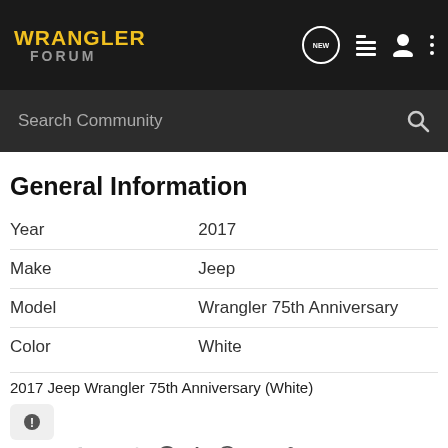WRANGLER FORUM
General Information
| Field | Value |
| --- | --- |
| Year | 2017 |
| Make | Jeep |
| Model | Wrangler 75th Anniversary |
| Color | White |
2017 Jeep Wrangler 75th Anniversary (White)
Share: